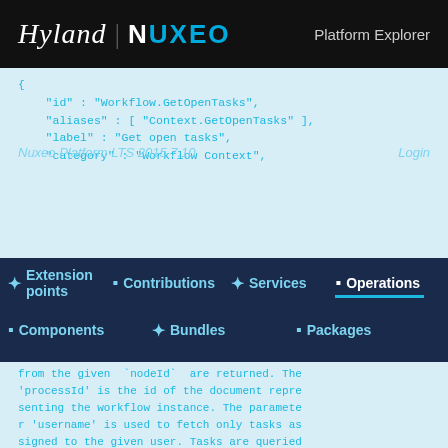Hyland | NUXEO   Platform Explorer
{
  "id" : "Workflow.GetOpenTasks",
  "aliases" : [ "Context.GetOpenTasks" ],
  "label" : "Get open tasks",
  "category" : "Workflow Context",
Nuxeo Platform LTS 2015 7.10   Login
Extension points   Contributions   Services   Operations
Components   Bundles   Packages
from the given `nodeId` are returned. The 'processId' is the id of the document representing the workflow instance. The parameter 'username' is used to fetch only tasks assigned to the given user. Tasks are queried using an unrestricted session.",
  "url" : "Workflow.GetOpenTasks",
  "signature" : [ "document", "documents", "documents", "documents" ],
  "params" : [ {
    "name" : "nodeId",
    "description" : null,
    "type" : "string",
    "required" : false,